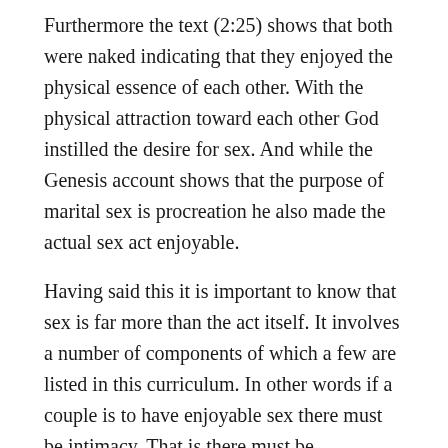Furthermore the text (2:25) shows that both were naked indicating that they enjoyed the physical essence of each other. With the physical attraction toward each other God instilled the desire for sex. And while the Genesis account shows that the purpose of marital sex is procreation he also made the actual sex act enjoyable.
Having said this it is important to know that sex is far more than the act itself. It involves a number of components of which a few are listed in this curriculum. In other words if a couple is to have enjoyable sex there must be intimacy. That is there must be communication wherein each partner is respected. Further there must be time spent together outside the mundane activities such as doing the laundry and washing the car. Respect and